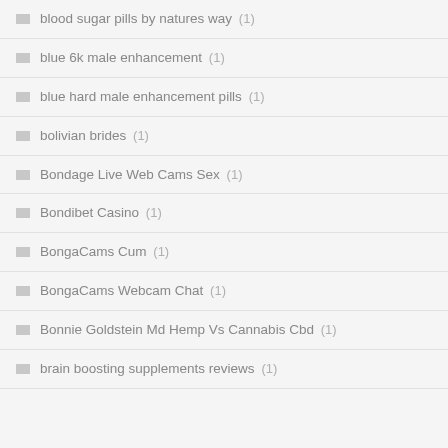blood sugar pills by natures way (1)
blue 6k male enhancement (1)
blue hard male enhancement pills (1)
bolivian brides (1)
Bondage Live Web Cams Sex (1)
Bondibet Casino (1)
BongaCams Cum (1)
BongaCams Webcam Chat (1)
Bonnie Goldstein Md Hemp Vs Cannabis Cbd (1)
brain boosting supplements reviews (1)